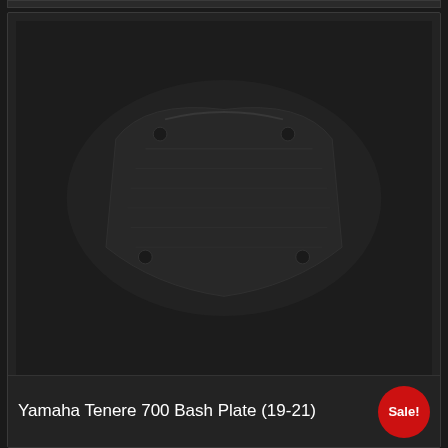[Figure (photo): Dark product photo of a Yamaha Tenere 700 Bash Plate (19-21), shown as a dark metallic motorcycle skid plate on a very dark background.]
Yamaha Tenere 700 Bash Plate (19-21)
Sale!